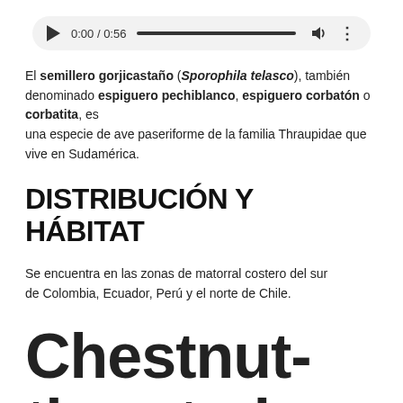[Figure (other): Audio player widget showing play button, time 0:00 / 0:56, progress bar, speaker icon, and options dots]
El semillero gorjicastaño (Sporophila telasco), también denominado espiguero pechiblanco, espiguero corbatón o corbatita, es una especie de ave paseriforme de la familia Thraupidae que vive en Sudamérica.
DISTRIBUCIÓN Y HÁBITAT
Se encuentra en las zonas de matorral costero del sur de Colombia, Ecuador, Perú y el norte de Chile.
Chestnut-throated